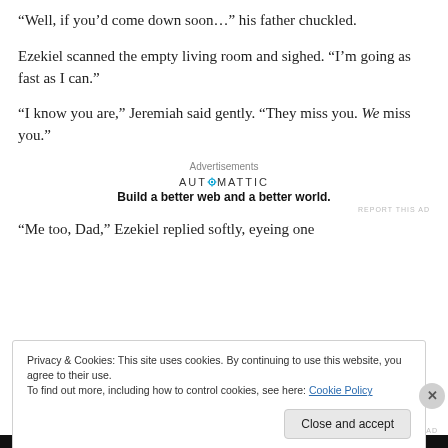“Well, if you’d come down soon…” his father chuckled.
Ezekiel scanned the empty living room and sighed. “I’m going as fast as I can.”
“I know you are,” Jeremiah said gently. “They miss you. We miss you.”
[Figure (other): Automattic advertisement: logo with gear icon, tagline 'Build a better web and a better world.']
“Me too, Dad,” Ezekiel replied softly, eyeing one
Privacy & Cookies: This site uses cookies. By continuing to use this website, you agree to their use.
To find out more, including how to control cookies, see here: Cookie Policy